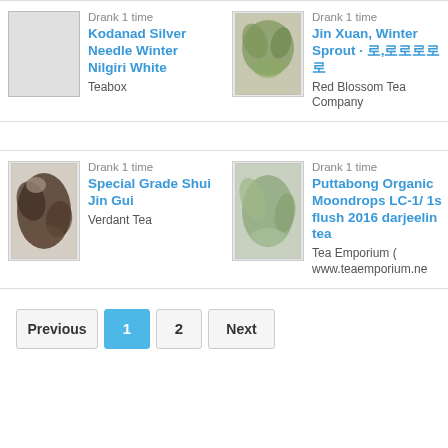[Figure (screenshot): Tea listing card: blank image placeholder on left, text on right showing 'Drank 1 time', title 'Kodanad Silver Needle Winter Nilgiri White', vendor 'Teabox']
[Figure (photo): Tea listing card: photo of green rolled oolong tea leaves on left, text on right showing 'Drank 1 time', title 'Jin Xuan, Winter Sprout · 로,로로로로로', vendor 'Red Blossom Tea Company']
[Figure (photo): Tea listing card: photo of dark twisted tea leaves on left, text on right showing 'Drank 1 time', title 'Special Grade Shui Jin Gui', vendor 'Verdant Tea']
[Figure (photo): Tea listing card: photo of green white tea leaves on left, text on right showing 'Drank 1 time', title 'Puttabong Organic Moondrops LC-1/ 1s flush 2016 darjeeling tea', vendor 'Tea Emporium (www.teaemporium.ne']
Previous
1
2
Next